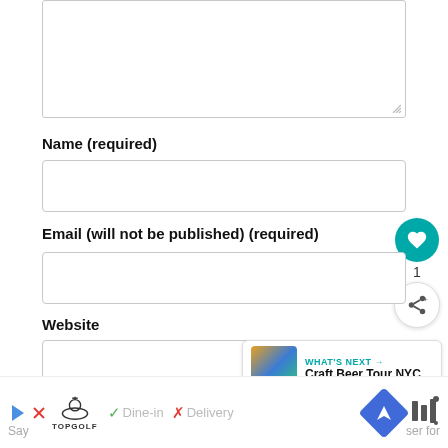[Figure (screenshot): Large empty textarea input field with resize handle at bottom-right corner]
Name (required)
[Figure (screenshot): Single-line text input box for Name field]
Email (will not be published) (required)
[Figure (screenshot): Teal circular heart/like button with count badge showing 1, and share button below it]
[Figure (screenshot): Single-line text input box for Email field]
Website
[Figure (screenshot): Single-line text input box for Website field]
[Figure (screenshot): What's Next card showing Craft Beer Tour NYC with thumbnail image]
[Figure (screenshot): Advertisement bar at bottom with Topgolf logo, Dine-in checkmark, Delivery X mark, navigation arrow icon, and Yelp-style bars icon]